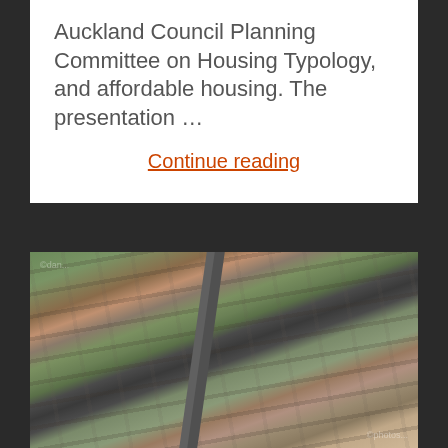Auckland Council Planning Committee on Housing Typology, and affordable housing. The presentation …
Continue reading
[Figure (photo): Aerial photograph of an Auckland suburban area showing dense residential housing with a major road or motorway cutting diagonally through the middle, with green spaces and commercial areas visible.]